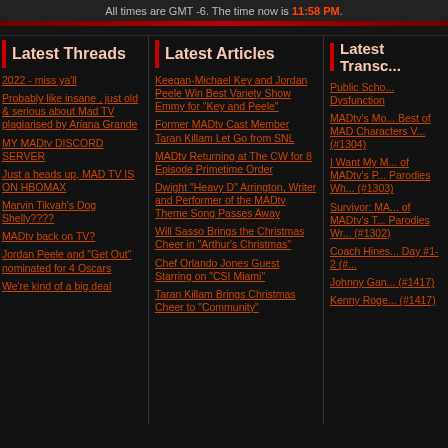All times are GMT -6. The time now is 11:58 PM.
Latest Threads
2022 - miss ya'll
Probably like insane , just old & serious about Mad TV plagiarised by Ariana Grande
MY MADtv DISCORD SERVER
Just a heads up, MAD TV IS ON HBOMAX
Marvin Tikvah's Dog Shelly????
MADtv back on TV?
Jordan Peele and "Get Out" nominated for 4 Oscars
We're kind of a big deal
Latest Articles
Keegan-Michael Key and Jordan Peele Win Best Variety Show Emmy for "Key and Peele"
Former MADtv Cast Member Taran Killam Let Go from SNL
MADtv Returning at The CW for 8 Episode Primetime Order
Dwight "Heavy D" Arrington, Writer and Performer of the MADtv Theme Song Passes Away
Will Sasso Brings the Christmas Cheer in "Arthur's Christmas"
Chef Orlando Jones Guest Starring on "CSI Miami"
Taran Killam Brings Christmas Cheer to "Community"
Latest Transcr...
Public School Dysfunction
MADtv's Most Best of MAD Characters Vol (#1304)
I Want My M of MADtv's P Parodies Wh (#1303)
Survivor: MA of MADtv's T Parodies Wr (#1302)
Coach Hines Day #1-2 (#...
Johnny Ga... (#1417)
Kenny Roge... (#1417)